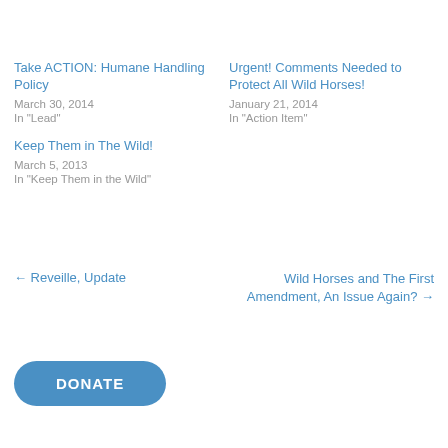Take ACTION: Humane Handling Policy
March 30, 2014
In "Lead"
Urgent! Comments Needed to Protect All Wild Horses!
January 21, 2014
In "Action Item"
Keep Them in The Wild!
March 5, 2013
In "Keep Them in the Wild"
← Reveille, Update
Wild Horses and The First Amendment, An Issue Again? →
DONATE